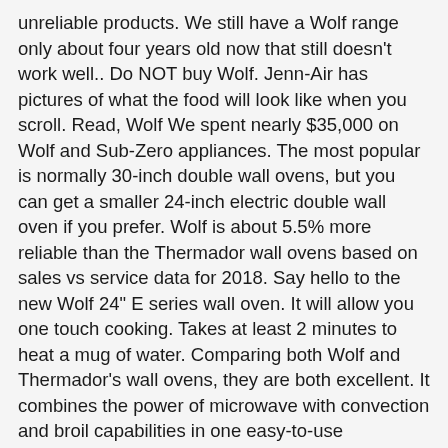unreliable products. We still have a Wolf range only about four years old now that still doesn't work well.. Do NOT buy Wolf. Jenn-Air has pictures of what the food will look like when you scroll. Read, Wolf We spent nearly $35,000 on Wolf and Sub-Zero appliances. The most popular is normally 30-inch double wall ovens, but you can get a smaller 24-inch electric double wall oven if you prefer. Wolf is about 5.5% more reliable than the Thermador wall ovens based on sales vs service data for 2018. Say hello to the new Wolf 24" E series wall oven. It will allow you one touch cooking. Takes at least 2 minutes to heat a mug of water. Comparing both Wolf and Thermador's wall ovens, they are both excellent. It combines the power of microwave with convection and broil capabilities in one easy-to-use appliance. Proudly serving Greater Boston and Metrowest, MA Since 1923, A Real Review of Wolf Wall Ovens (Ratings / Prices), Click here to learn which measures Yale is taking to deal with the. Wolf's extensive array of choices for free standing units gives buyers many options for designing kitchen layouts. ... including slide-in